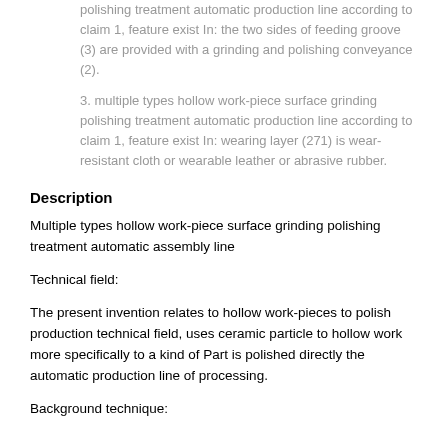polishing treatment automatic production line according to claim 1, feature exist In: the two sides of feeding groove (3) are provided with a grinding and polishing conveyance (2).
3. multiple types hollow work-piece surface grinding polishing treatment automatic production line according to claim 1, feature exist In: wearing layer (271) is wear-resistant cloth or wearable leather or abrasive rubber.
Description
Multiple types hollow work-piece surface grinding polishing treatment automatic assembly line
Technical field:
The present invention relates to hollow work-pieces to polish production technical field, uses ceramic particle to hollow work more specifically to a kind of Part is polished directly the automatic production line of processing.
Background technique: